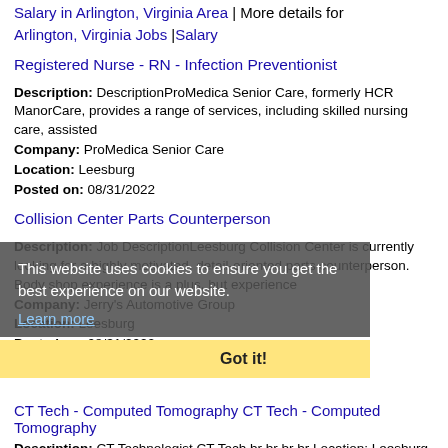Salary in Arlington, Virginia Area | More details for Arlington, Virginia Jobs |Salary
Registered Nurse - RN - Infection Preventionist
Description: DescriptionProMedica Senior Care, formerly HCR ManorCare, provides a range of services, including skilled nursing care, assisted
Company: ProMedica Senior Care
Location: Leesburg
Posted on: 08/31/2022
Collision Center Parts Counterperson
Description: Job DescriptionLeesburg Collision Center is currently looking for a highly motivated, detail-oriented parts counterperson. Body shop experience is a plus, but experience
Company: Jerry's Automotive Group
Location: Leesburg
Posted on: 08/31/2022
This website uses cookies to ensure you get the best experience on our website. Learn more
Got it!
CT Tech - Computed Tomography CT Tech - Computed Tomography
Description: CT Technologist CT Tech br br br br Location: Leesburg, VA br br br br Start Date: 07/18/2022 br br br br Shift: 4x10 Nights br br br br Setting: Contact your Anders recruiter